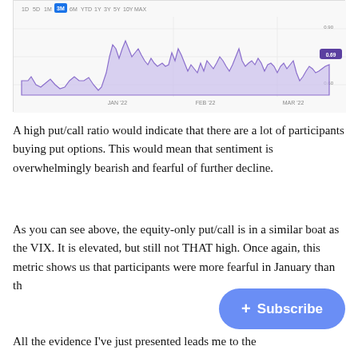[Figure (area-chart): Area chart showing equity put/call ratio over 3 months (Jan 22 to Mar 22). Purple filled area with oscillating values, time navigation tabs at top (1D, 5D, 1M, 3M highlighted in blue, 6M, YTD, 1Y, 3Y, 5Y, 10Y, MAX).]
A high put/call ratio would indicate that there are a lot of participants buying put options. This would mean that sentiment is overwhelmingly bearish and fearful of further decline.
As you can see above, the equity-only put/call is in a similar boat as the VIX. It is elevated, but still not THAT high. Once again, this metric shows us that participants were more fearful in January than th
All the evidence I've just presented leads me to the